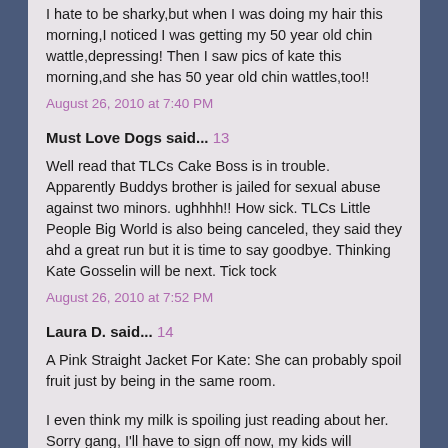I hate to be sharky,but when I was doing my hair this morning,I noticed I was getting my 50 year old chin wattle,depressing! Then I saw pics of kate this morning,and she has 50 year old chin wattles,too!!
August 26, 2010 at 7:40 PM
Must Love Dogs said... 13
Well read that TLCs Cake Boss is in trouble. Apparently Buddys brother is jailed for sexual abuse against two minors. ughhhh!! How sick. TLCs Little People Big World is also being canceled, they said they ahd a great run but it is time to say goodbye. Thinking Kate Gosselin will be next. Tick tock
August 26, 2010 at 7:52 PM
Laura D. said... 14
A Pink Straight Jacket For Kate: She can probably spoil fruit just by being in the same room.
I even think my milk is spoiling just reading about her. Sorry gang, I'll have to sign off now, my kids will